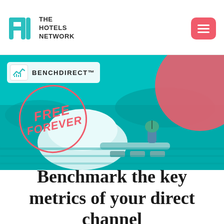THE HOTELS NETWORK
[Figure (illustration): Hero banner with teal/cyan-tinted Mediterranean scenic photo, BenchDirect™ badge top-left, large red circle decoration top-right, red stamp circle reading FREE FOREVER bottom-left]
Benchmark the key metrics of your direct channel